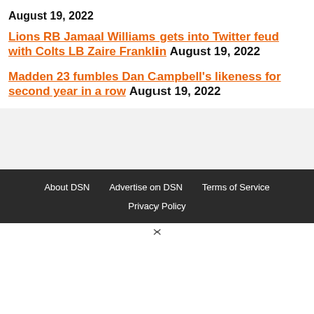August 19, 2022
Lions RB Jamaal Williams gets into Twitter feud with Colts LB Zaire Franklin August 19, 2022
Madden 23 fumbles Dan Campbell's likeness for second year in a row August 19, 2022
About DSN   Advertise on DSN   Terms of Service   Privacy Policy